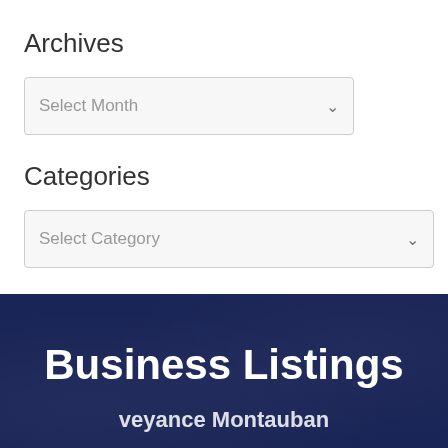Archives
[Figure (screenshot): Dropdown selector labeled 'Select Month' with a chevron arrow]
Categories
[Figure (screenshot): Dropdown selector labeled 'Select Category' with a chevron arrow]
Business Listings
veyance Montauban